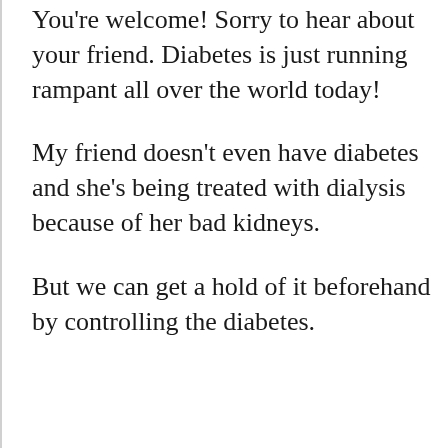You're welcome! Sorry to hear about your friend. Diabetes is just running rampant all over the world today!
My friend doesn't even have diabetes and she's being treated with dialysis because of her bad kidneys.
But we can get a hold of it beforehand by controlling the diabetes.